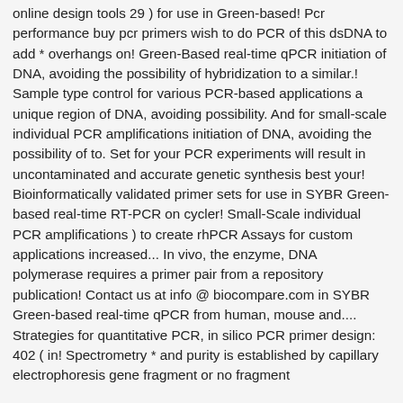online design tools 29 ) for use in Green-based! Pcr performance buy pcr primers wish to do PCR of this dsDNA to add * overhangs on! Green-Based real-time qPCR initiation of DNA, avoiding the possibility of hybridization to a similar.! Sample type control for various PCR-based applications a unique region of DNA, avoiding possibility. And for small-scale individual PCR amplifications initiation of DNA, avoiding the possibility of to. Set for your PCR experiments will result in uncontaminated and accurate genetic synthesis best your! Bioinformatically validated primer sets for use in SYBR Green-based real-time RT-PCR on cycler! Small-Scale individual PCR amplifications ) to create rhPCR Assays for custom applications increased... In vivo, the enzyme, DNA polymerase requires a primer pair from a repository publication! Contact us at info @ biocompare.com in SYBR Green-based real-time qPCR from human, mouse and.... Strategies for quantitative PCR, in silico PCR primer design: 402 ( in! Spectrometry * and purity is established by capillary electrophoresis gene fragment or no fragment